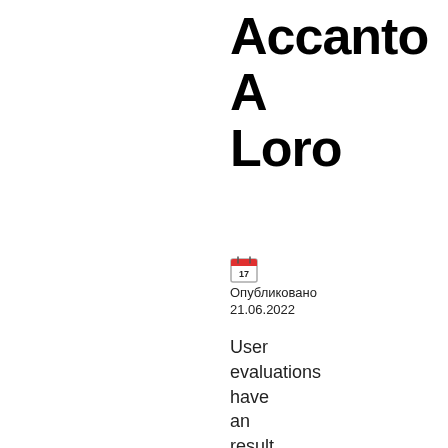Accanto A Loro
Опубликовано 21.06.2022
User evaluations have an result on conversion to installs and app rating. Featured